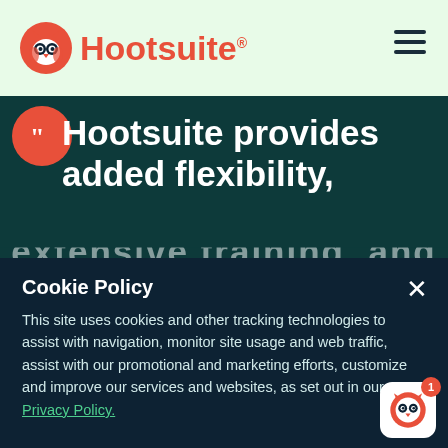[Figure (logo): Hootsuite logo with owl icon in red/orange and 'Hootsuite' wordmark, on light green header bar with hamburger menu on the right]
"Hootsuite provides added flexibility, extensive training, and
Cookie Policy
This site uses cookies and other tracking technologies to assist with navigation, monitor site usage and web traffic, assist with our promotional and marketing efforts, customize and improve our services and websites, as set out in our Privacy Policy.